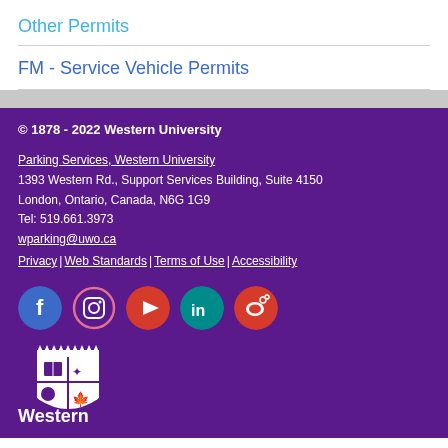Other Permits
FM - Service Vehicle Permits
© 1878 - 2022 Western University

Parking Services, Western University
1393 Western Rd., Support Services Building, Suite 4150
London, Ontario, Canada, N6G 1G9
Tel: 519.661.3973
wparking@uwo.ca
Privacy | Web Standards | Terms of Use | Accessibility
[Figure (logo): Western University crest/shield logo with 'Western' wordmark below in white on purple background]
[Figure (infographic): Social media icons row: Facebook (blue circle), Instagram (pink circle outline), YouTube (red circle with play button), LinkedIn (teal circle), Weibo (red circle)]